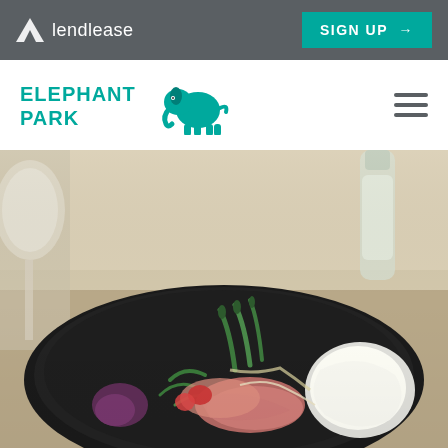[Figure (logo): Lendlease logo with white diamond/arrow icon and white text 'lendlease' on dark grey background]
[Figure (other): Teal 'SIGN UP →' button on dark grey top bar]
[Figure (logo): Elephant Park logo with teal elephant icon and teal text 'ELEPHANT PARK' on white navigation bar]
[Figure (other): Hamburger menu icon (three horizontal lines) on white navigation bar]
[Figure (photo): Restaurant food photo showing a dark plate with asparagus, green beans, vegetables, meat and a poached egg, with wine glasses and a water bottle in the background on a wooden table]